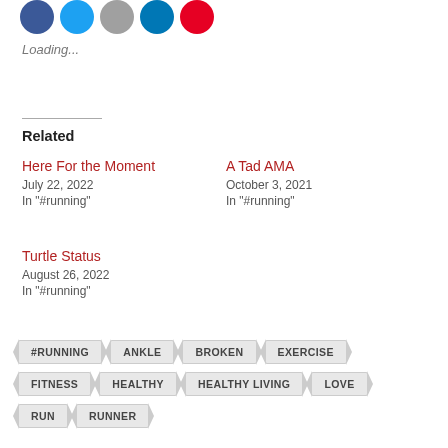[Figure (other): Social media sharing icons: Facebook (blue), Twitter (blue), grey circle, LinkedIn (blue), Pinterest (red)]
Loading...
Related
Here For the Moment
July 22, 2022
In "#running"
A Tad AMA
October 3, 2021
In "#running"
Turtle Status
August 26, 2022
In "#running"
#RUNNING
ANKLE
BROKEN
EXERCISE
FITNESS
HEALTHY
HEALTHY LIVING
LOVE
RUN
RUNNER